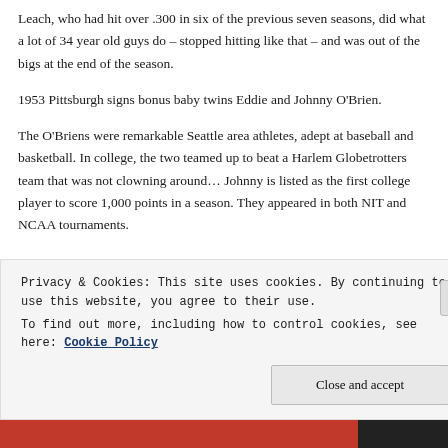Leach, who had hit over .300 in six of the previous seven seasons, did what a lot of 34 year old guys do – stopped hitting like that – and was out of the bigs at the end of the season.
1953 Pittsburgh signs bonus baby twins Eddie and Johnny O'Brien.
The O'Briens were remarkable Seattle area athletes, adept at baseball and basketball. In college, the two teamed up to beat a Harlem Globetrotters team that was not clowning around… Johnny is listed as the first college player to score 1,000 points in a season. They appeared in both NIT and NCAA tournaments.
Privacy & Cookies: This site uses cookies. By continuing to use this website, you agree to their use.
To find out more, including how to control cookies, see here: Cookie Policy
Close and accept